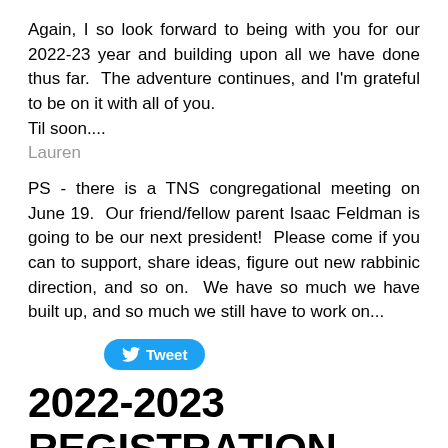Again, I so look forward to being with you for our 2022-23 year and building upon all we have done thus far. The adventure continues, and I'm grateful to be on it with all of you.
Til soon....
Lauren
PS - there is a TNS congregational meeting on June 19. Our friend/fellow parent Isaac Feldman is going to be our next president! Please come if you can to support, share ideas, figure out new rabbinic direction, and so on. We have so much we have built up, and so much we still have to work on...
[Figure (other): Twitter Tweet button in blue rounded rectangle]
2022-2023 REGISTRATION OPEN!